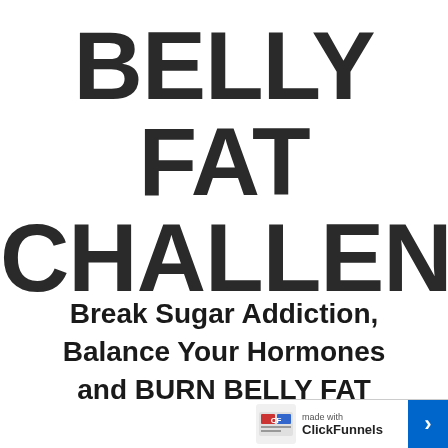BELLY FAT CHALLENGE
Break Sugar Addiction, Balance Your Hormones and BURN BELLY FAT